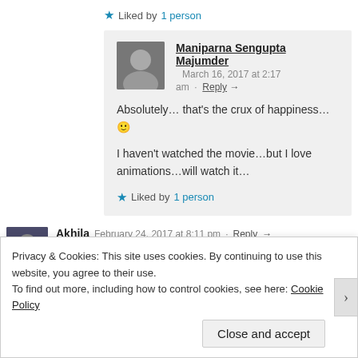★ Liked by 1 person
Maniparna Sengupta Majumder  March 16, 2017 at 2:17 am · Reply →
Absolutely… that's the crux of happiness… 🙂
I haven't watched the movie…but I love animations…will watch it…
★ Liked by 1 person
Akhila  February 24, 2017 at 8:11 pm · Reply →
Key to happiness is in our hands.. Maybe that's why sometimes i think…
Privacy & Cookies: This site uses cookies. By continuing to use this website, you agree to their use. To find out more, including how to control cookies, see here: Cookie Policy
Close and accept